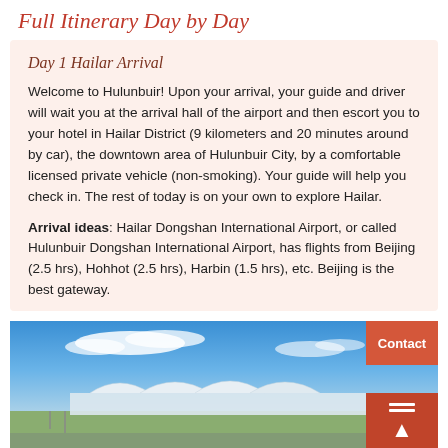Full Itinerary Day by Day
Day 1 Hailar Arrival
Welcome to Hulunbuir! Upon your arrival, your guide and driver will wait you at the arrival hall of the airport and then escort you to your hotel in Hailar District (9 kilometers and 20 minutes around by car), the downtown area of Hulunbuir City, by a comfortable licensed private vehicle (non-smoking). Your guide will help you check in. The rest of today is on your own to explore Hailar.
Arrival ideas: Hailar Dongshan International Airport, or called Hulunbuir Dongshan International Airport, has flights from Beijing (2.5 hrs), Hohhot (2.5 hrs), Harbin (1.5 hrs), etc. Beijing is the best gateway.
[Figure (photo): Photo of Hailar Dongshan International Airport exterior with blue sky and white clouds above, and airport terminal building visible at bottom.]